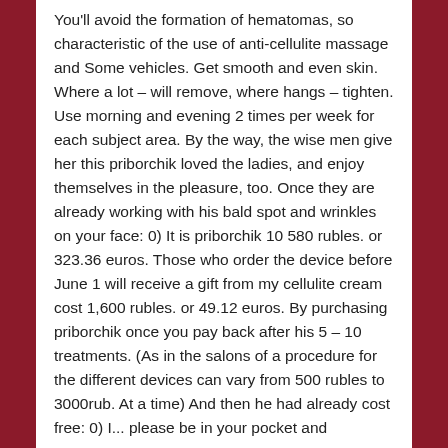You'll avoid the formation of hematomas, so characteristic of the use of anti-cellulite massage and Some vehicles. Get smooth and even skin. Where a lot – will remove, where hangs – tighten. Use morning and evening 2 times per week for each subject area. By the way, the wise men give her this priborchik loved the ladies, and enjoy themselves in the pleasure, too. Once they are already working with his bald spot and wrinkles on your face: 0) It is priborchik 10 580 rubles. or 323.36 euros. Those who order the device before June 1 will receive a gift from my cellulite cream cost 1,600 rubles. or 49.12 euros. By purchasing priborchik once you pay back after his 5 – 10 treatments. (As in the salons of a procedure for the different devices can vary from 500 rubles to 3000rub. At a time) And then he had already cost free: 0) I... please be in your pocket and